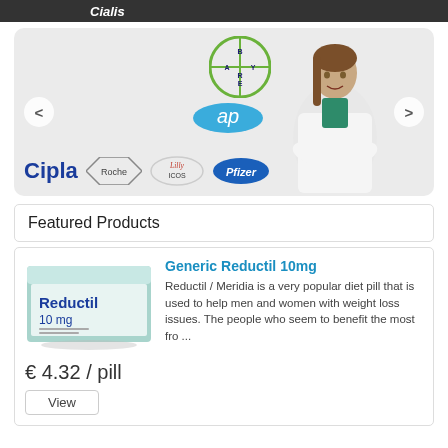Cialis
[Figure (illustration): Pharmaceutical brands banner showing Bayer, AP, Cipla, Roche, Lilly ICOS, and Pfizer logos alongside a female pharmacist/doctor in a white coat. Left and right carousel navigation arrows visible.]
Featured Products
[Figure (photo): Reductil 10 mg medication box package]
Generic Reductil 10mg
Reductil / Meridia is a very popular diet pill that is used to help men and women with weight loss issues. The people who seem to benefit the most fro ...
€ 4.32 / pill
View